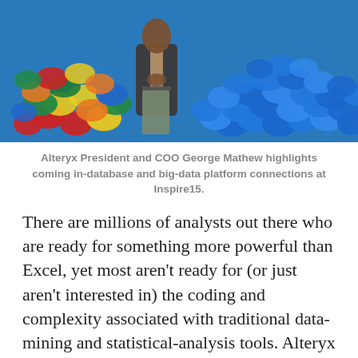[Figure (photo): A man in a blazer standing on a stage in front of colorful M&M candies — mixed colors on the left and blue ones on the right. The background is blue.]
Alteryx President and COO George Mathew highlights coming in-database and big-data platform connections at Inspire15.
There are millions of analysts out there who are ready for something more powerful than Excel, yet most aren't ready for (or just aren't interested in) the coding and complexity associated with traditional data-mining and statistical-analysis tools. Alteryx appeals to these would-be customers with a desktop designer tool that combines self-service data blending and coding-free predictive and spatial analysis. Desktops can be combined with the Alteryx